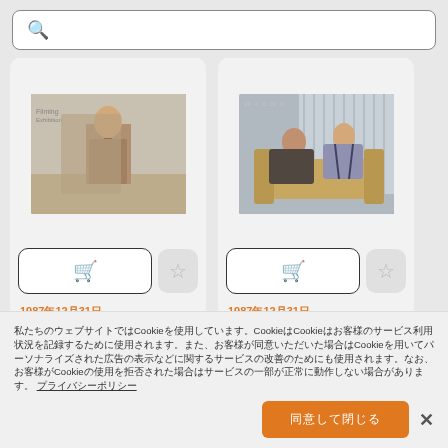[Figure (screenshot): Search bar with magnifying glass icon and placeholder text (Japanese characters)]
[Figure (photo): Film still showing a man in a suit standing in an office/lobby setting]
[Figure (photo): Film still showing two people on a couch/sofa in an interior setting]
1987年12月31日
THE SECRET OF MY
1987年12月31日
THE SECRET OF MY
私たちのウェブサイトではCookieを使用しています。Cookieはお客様のサービス利用状況を記録するために使用されます。また、お客様が同意いただいた場合はCookieを用いてパーソナライズされた広告の表示などに使用されます。 プライバシーポリシー